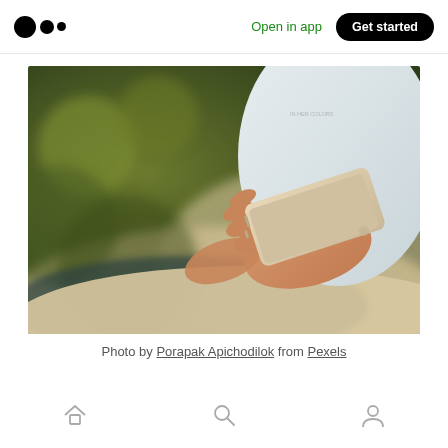Medium logo | Open in app | Get started
[Figure (photo): Person holding a smartphone, viewed from above and slightly to the side. Background is blurred green foliage and a light surface. Person wears a white t-shirt. Text on shirt partially visible reading 'IN HER COLORS'.]
Photo by Porapak Apichodilok from Pexels
Home | Search | Profile navigation icons